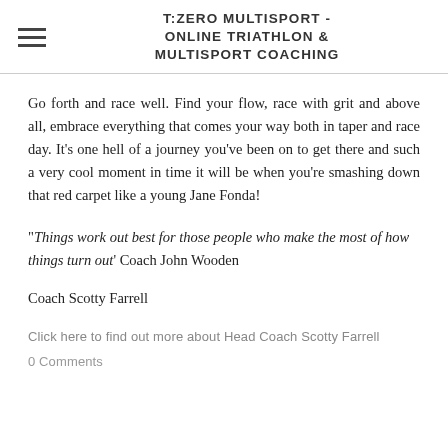T:ZERO MULTISPORT - ONLINE TRIATHLON & MULTISPORT COACHING
Go forth and race well. Find your flow, race with grit and above all, embrace everything that comes your way both in taper and race day. It's one hell of a journey you've been on to get there and such a very cool moment in time it will be when you're smashing down that red carpet like a young Jane Fonda!
“Things work out best for those people who make the most of how things turn out’ Coach John Wooden
Coach Scotty Farrell
Click here to find out more about Head Coach Scotty Farrell
0 Comments